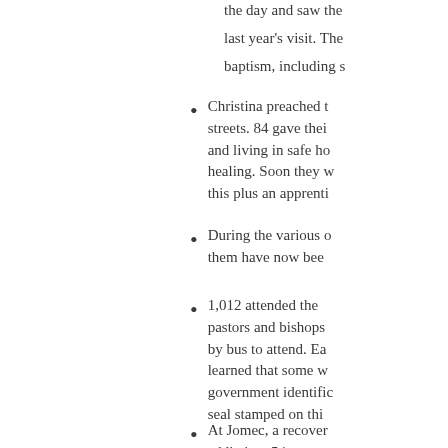The team ministry... the day and saw the... last year's visit. The... baptism, including s...
Christina preached t... streets. 84 gave thei... and living in safe ho... healing. Soon they w... this plus an apprenti...
During the various o... them have now bee...
1,012 attended the... pastors and bishops... by bus to attend. Ea... learned that some w... government identific... seal stamped on thi...
At Jomec, a recover... addiction. 54 came...